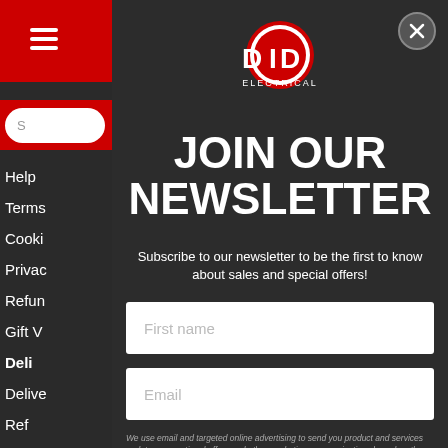[Figure (screenshot): DID Electrical website with newsletter signup modal overlay. Background shows red header bar, hamburger menu, search bar, and navigation links. Modal contains DID Electrical logo, JOIN OUR NEWSLETTER heading, subtitle text, First name input, Email input, and privacy disclaimer text.]
JOIN OUR NEWSLETTER
Subscribe to our newsletter to be the first to know about sales and special offers!
We use email and targeted online advertising to send you product and services updates, promotional offers and other marketing communications based on the information we collect about you, such as your email address, general location, and purchase and website browsing history. You may withdraw your consent or manage your preferences at any time by clicking the unsubscribe link at the bottom of any of our marketing emails.